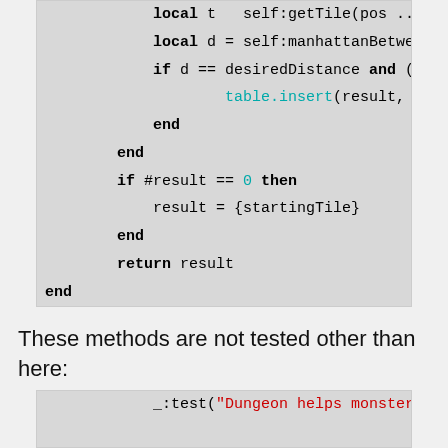[Figure (screenshot): Code block showing Lua code with syntax highlighting. Lines include: local t = self:getTile(pos ..., local d = self:manhattanBetwe..., if d == desiredDistance and (, table.insert(result, t), end, end, if #result == 0 then, result = {startingTile}, end, return result, end]
These methods are not tested other than here:
[Figure (screenshot): Code block showing Lua test code: _:test("Dungeon helps monster..."]